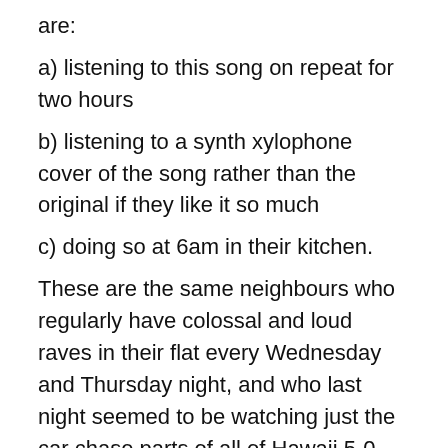are:
a) listening to this song on repeat for two hours
b) listening to a synth xylophone cover of the song rather than the original if they like it so much
c) doing so at 6am in their kitchen.
These are the same neighbours who regularly have colossal and loud raves in their flat every Wednesday and Thursday night, and who last night seemed to be watching just the car chase parts of all of Hawaii 5-0 with the television pressed up against the wall. There are so many people around who are simply bad and naughty; people who don't give a single microscopic hoot and know they're being antisocial, tossing Snickers